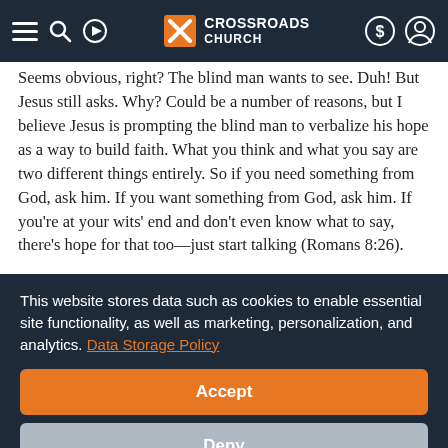Crossroads Church — navigation header
Seems obvious, right? The blind man wants to see. Duh! But Jesus still asks. Why? Could be a number of reasons, but I believe Jesus is prompting the blind man to verbalize his hope as a way to build faith. What you think and what you say are two different things entirely. So if you need something from God, ask him. If you want something from God, ask him. If you're at your wits' end and don't even know what to say, there's hope for that too—just start talking (Romans 8:26).
This website stores data such as cookies to enable essential site functionality, as well as marketing, personalization, and analytics. Data Storage Policy
Accept
Deny